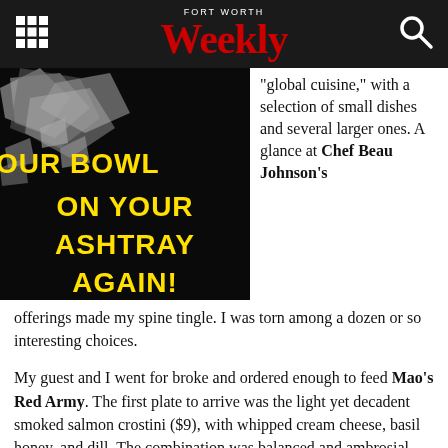FORT WORTH Weekly
[Figure (photo): Movie-poster style image with bold yellow text on black background reading 'YOUR BOWL ON YOUR ASHTRAY AGAIN!' with silver/metallic objects scattering]
“global cuisine,” with a selection of small dishes and several larger ones. A glance at Chef Beau Johnson’s
offerings made my spine tingle. I was torn among a dozen or so interesting choices.
My guest and I went for broke and ordered enough to feed Mao’s Red Army. The first plate to arrive was the light yet decadent smoked salmon crostini ($9), with whipped cream cheese, basil honey, and dill. The combination was balanced and ambrosial, though the bread could have used another minute on the barbie. The